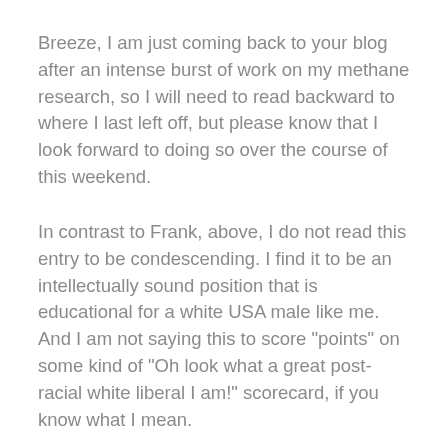Breeze, I am just coming back to your blog after an intense burst of work on my methane research, so I will need to read backward to where I last left off, but please know that I look forward to doing so over the course of this weekend.
In contrast to Frank, above, I do not read this entry to be condescending. I find it to be an intellectually sound position that is educational for a white USA male like me. And I am not saying this to score "points" on some kind of "Oh look what a great post-racial white liberal I am!" scorecard, if you know what I mean.
This is about intellectual rigor. It cannot be academically accurate – or therapeutically accurate – to define black anger at whites in a white supremacist society as an